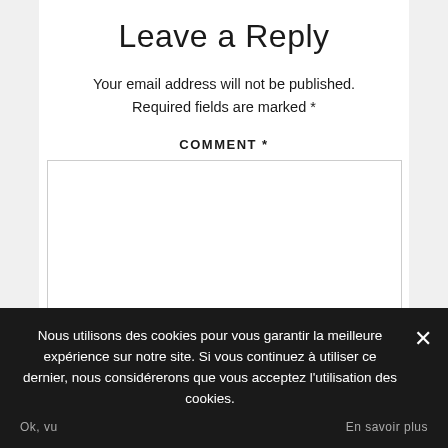Leave a Reply
Your email address will not be published. Required fields are marked *
COMMENT *
Nous utilisons des cookies pour vous garantir la meilleure expérience sur notre site. Si vous continuez à utiliser ce dernier, nous considérerons que vous acceptez l'utilisation des cookies.